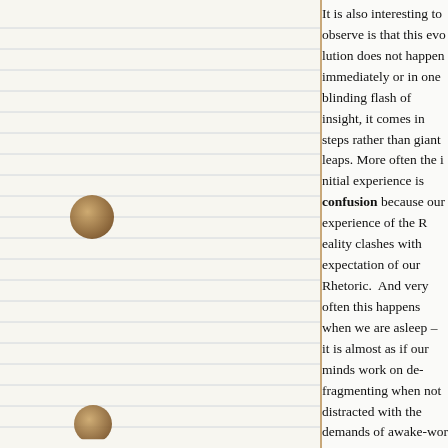It is also interesting to observe is that this evolution does not happen immediately or in one blinding flash of insight, it comes in steps rather than giant leaps. More often the initial experience is confusion because our experience of the Reality clashes with expectation of our Rhetoric. And very often this happens when we are asleep – it is almost as if our minds work on de-fragmenting and not distracted with the demands of awake-world, reorganising our mental model structure when it has time to. You may have a sleepless night after such an Reality Collision but wake up of greater clarity – our updated mental model now encompassing our New Rhetoric. Experienced facilitators of Improvement recognise this natural learning process and that it happens of its own accord themselves. It is this feeling of increased clarity and the released energy that is the buzz of Improvement facilitation. We learn that our memory plays tricks on us; and that what becomes confusion today and clarity tomorrow. What also emerges spontaneously is the desire to keep a journal at our bedside – to capture the twists and turns of the journey.

This blog just such a journal.
[Figure (illustration): Two circular wood-grain patterned dots/circles on the left notebook panel, resembling decorative thumbtack holes or wooden circles.]